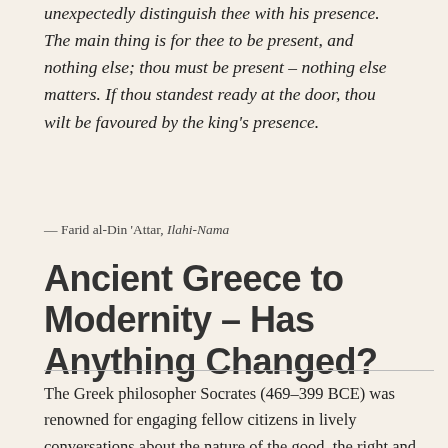unexpectedly distinguish thee with his presence. The main thing is for thee to be present, and nothing else; thou must be present – nothing else matters. If thou standest ready at the door, thou wilt be favoured by the king's presence.
— Farid al-Din 'Attar, Ilahi-Nama
Ancient Greece to Modernity – Has Anything Changed?
The Greek philosopher Socrates (469–399 BCE) was renowned for engaging fellow citizens in lively conversations about the nature of the good, the right and the just. Living a simple, frugal life, Socrates, like